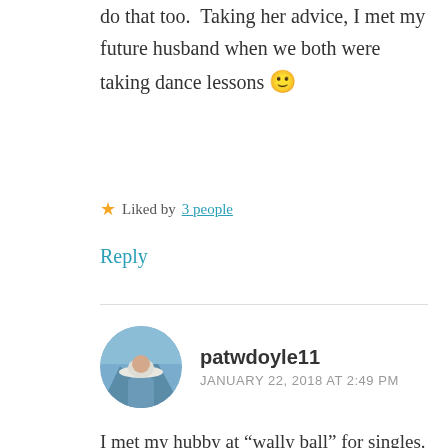do that too.  Taking her advice, I met my future husband when we both were taking dance lessons 🙂
★ Liked by 3 people
Reply
[Figure (photo): Circular avatar photo of user patwdoyle11, showing a person wearing a white hat outdoors]
patwdoyle11
JANUARY 22, 2018 AT 2:49 PM
I met my hubby at “wally ball” for singles. Not sure if that was widespread, and it's not done any more – volleyball played on a racquetball court with walls being “good”. Common interests a bit – I liked volleyball for the team aspect and limited skill required – he was the